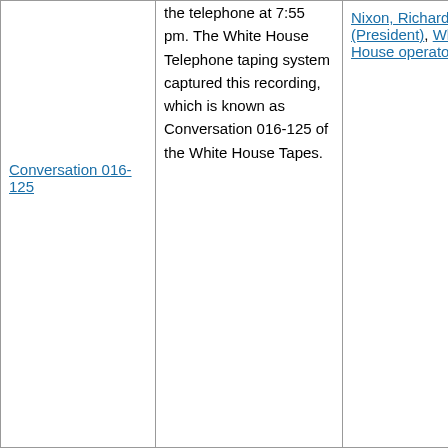| Conversation 016-125 | the telephone at 7:55 pm. The White House Telephone taping system captured this recording, which is known as Conversation 016-125 of the White House Tapes. | Nixon, Richard M. (President), White House operator |